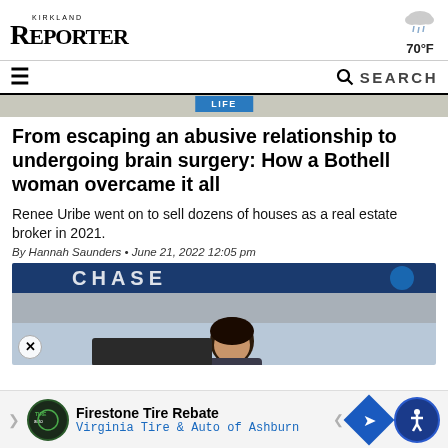KIRKLAND REPORTER | 70°F
☰  🔍 SEARCH
From escaping an abusive relationship to undergoing brain surgery: How a Bothell woman overcame it all
Renee Uribe went on to sell dozens of houses as a real estate broker in 2021.
By Hannah Saunders • June 21, 2022 12:05 pm
[Figure (photo): Photo showing a Chase bank sign in blue with a person below it. Ad banner at bottom for Firestone Tire Rebate / Virginia Tire & Auto of Ashburn.]